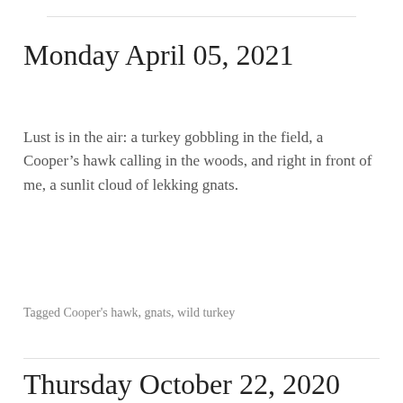Monday April 05, 2021
Lust is in the air: a turkey gobbling in the field, a Cooper’s hawk calling in the woods, and right in front of me, a sunlit cloud of lekking gnats.
Tagged Cooper's hawk, gnats, wild turkey
Thursday October 22, 2020